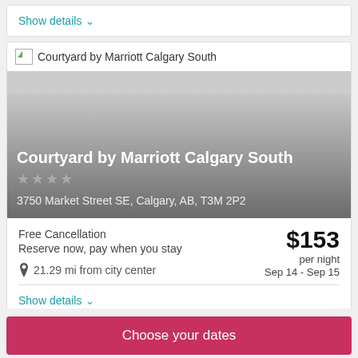Show details ∨
[Figure (photo): Broken image placeholder for Courtyard by Marriott Calgary South hotel]
Courtyard by Marriott Calgary South
3750 Market Street SE, Calgary, AB, T3M 2P2
Free Cancellation
Reserve now, pay when you stay
$153 per night
Sep 14 - Sep 15
21.29 mi from city center
Show details ∨
Choose your dates